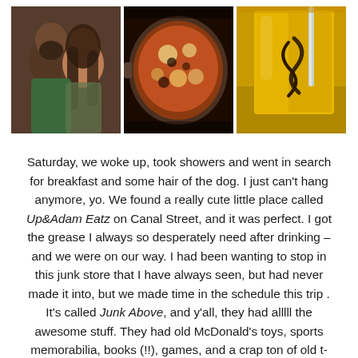[Figure (photo): Three photos side by side: left shows a couple (man with beard in green shirt and woman with long dark hair), middle shows a food dish (appears to be a baked/broiled dish in a pan), right shows a yellow/golden drink with a dark swirl pattern and a straw.]
Saturday, we woke up, took showers and went in search for breakfast and some hair of the dog.  I just can't hang anymore, yo.  We found a really cute little place called Up&Adam Eatz on Canal Street, and it was perfect.  I got the grease I always so desperately need after drinking – and we were on our way.  I had been wanting to stop in this junk store that I have always seen, but had never made it into, but we made time in the schedule this trip .  It's called Junk Above, and y'all, they had alllll the awesome stuff.  They had old McDonald's toys, sports memorabilia, books (!!), games, and a crap ton of old t-shirts.  After some shopping, we headed over to Second Line Brewing.  They had the most amazing seltzer – and had Harry Potter playing.  I don't know what more I